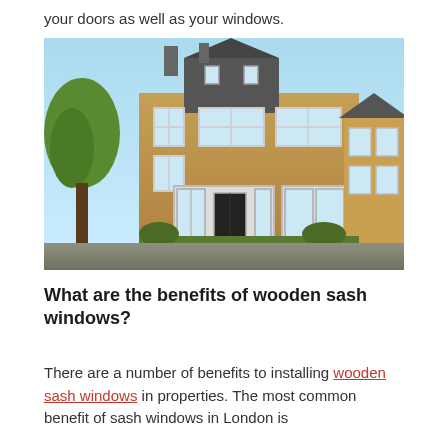your doors as well as your windows.
[Figure (photo): Exterior photograph of a large Victorian-style brick house with white sash windows, multiple storeys, a dormer roof, and a driveway with green hedges and trees.]
What are the benefits of wooden sash windows?
There are a number of benefits to installing wooden sash windows in properties. The most common benefit of sash windows in London is